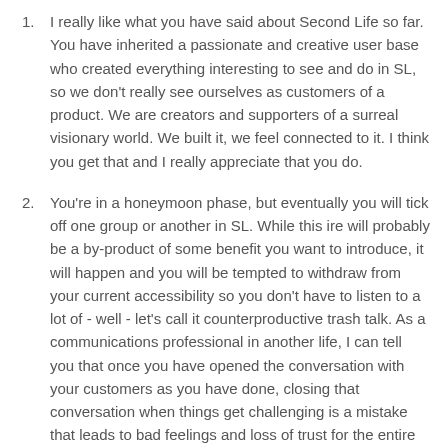I really like what you have said about Second Life so far. You have inherited a passionate and creative user base who created everything interesting to see and do in SL, so we don't really see ourselves as customers of a product. We are creators and supporters of a surreal visionary world. We built it, we feel connected to it. I think you get that and I really appreciate that you do.
You're in a honeymoon phase, but eventually you will tick off one group or another in SL. While this ire will probably be a by-product of some benefit you want to introduce, it will happen and you will be tempted to withdraw from your current accessibility so you don't have to listen to a lot of - well - let's call it counterproductive trash talk. As a communications professional in another life, I can tell you that once you have opened the conversation with your customers as you have done, closing that conversation when things get challenging is a mistake that leads to bad feelings and loss of trust for the entire community - not just the ones who were ticked off in the first place. Have a communications strategy to deal with these issues as they arise. Appoint other Lindens to speak on the